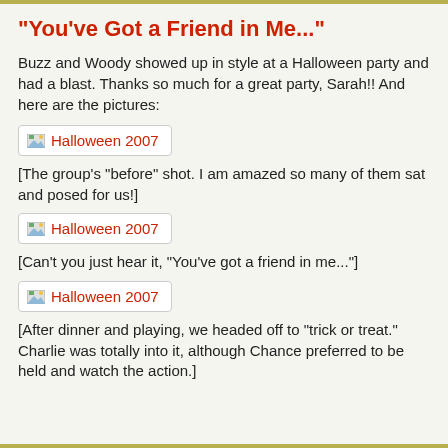"You've Got a Friend in Me..."
Buzz and Woody showed up in style at a Halloween party and had a blast. Thanks so much for a great party, Sarah!! And here are the pictures:
[Figure (photo): Broken/missing image placeholder labeled 'Halloween 2007']
[The group's "before" shot. I am amazed so many of them sat and posed for us!]
[Figure (photo): Broken/missing image placeholder labeled 'Halloween 2007']
[Can't you just hear it, "You've got a friend in me..."]
[Figure (photo): Broken/missing image placeholder labeled 'Halloween 2007']
[After dinner and playing, we headed off to "trick or treat." Charlie was totally into it, although Chance preferred to be held and watch the action.]